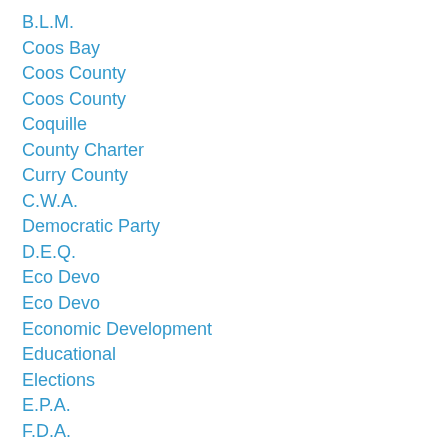B.L.M.
Coos Bay
Coos County
Coos County
Coquille
County Charter
Curry County
C.W.A.
Democratic Party
D.E.Q.
Eco Devo
Eco Devo
Economic Development
Educational
Elections
E.P.A.
F.D.A.
F.E.M.A.
Individual Rights
I Spy Radio
Jury Nullification